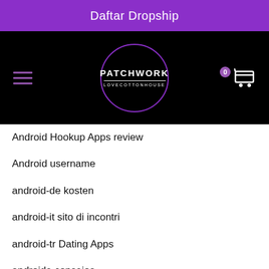Daftar Dropship
[Figure (logo): Patchwork Lovecottonhouse logo in a purple circle on black navigation bar, with hamburger menu icon on left and cart icon with badge '0' on right]
Android Hookup Apps review
Android username
android-de kosten
android-it sito di incontri
android-tr Dating Apps
androide consejos
Androide sitio web de citas
Angelreturn gay a niort